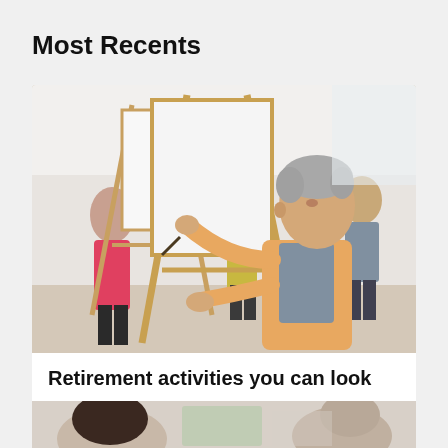Most Recents
[Figure (photo): A middle-aged woman with short grey hair wearing a peach/orange cardigan painting on a canvas on an easel in an art class. Other students with easels visible in the background.]
Retirement activities you can look
[Figure (photo): Partial view of people sitting, likely in a classroom or meeting setting, heads visible from behind/side.]